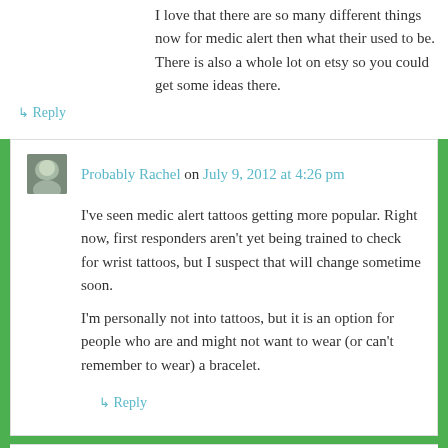I love that there are so many different things now for medic alert then what their used to be. There is also a whole lot on etsy so you could get some ideas there.
↳ Reply
Probably Rachel on July 9, 2012 at 4:26 pm
I've seen medic alert tattoos getting more popular. Right now, first responders aren't yet being trained to check for wrist tattoos, but I suspect that will change sometime soon.
I'm personally not into tattoos, but it is an option for people who are and might not want to wear (or can't remember to wear) a bracelet.
↳ Reply
Pingback: You Can (and I have proof) « probablyrachel